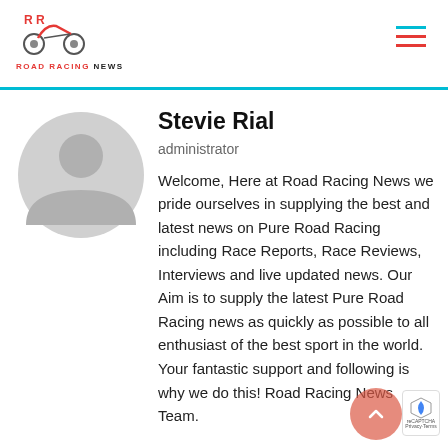Road Racing News
[Figure (logo): Road Racing News logo with motorcycle icon and site name]
Stevie Rial
administrator
[Figure (illustration): Generic grey avatar/profile silhouette placeholder image]
Welcome, Here at Road Racing News we pride ourselves in supplying the best and latest news on Pure Road Racing including Race Reports, Race Reviews, Interviews and live updated news. Our Aim is to supply the latest Pure Road Racing news as quickly as possible to all enthusiast of the best sport in the world. Your fantastic support and following is why we do this! Road Racing News Team.